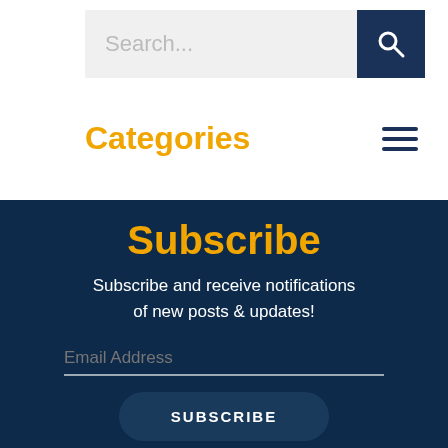Search...
Categories
Subscribe
Subscribe and receive notifications of new posts & updates!
Email Address
SUBSCRIBE